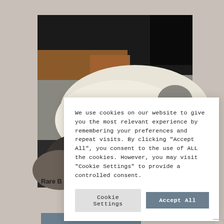[Figure (photo): Close-up photograph of animal furs/hides in black, white, grey, and brown tones, displayed on a surface. The image shows overlapping pelts with varying textures.]
Rare B
We use cookies on our website to give you the most relevant experience by remembering your preferences and repeat visits. By clicking "Accept All", you consent to the use of ALL the cookies. However, you may visit "Cookie Settings" to provide a controlled consent.
Cookie Settings
Accept All